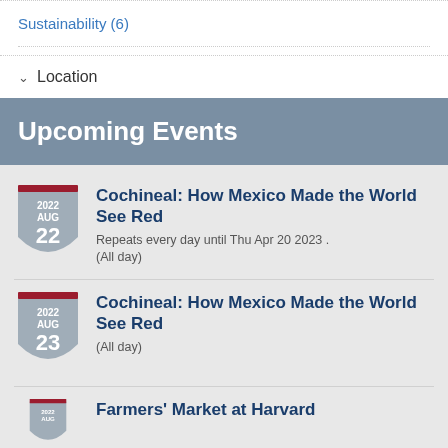Sustainability (6)
Location
Upcoming Events
Cochineal: How Mexico Made the World See Red
Repeats every day until Thu Apr 20 2023 .
(All day)
Cochineal: How Mexico Made the World See Red
(All day)
Farmers' Market at Harvard